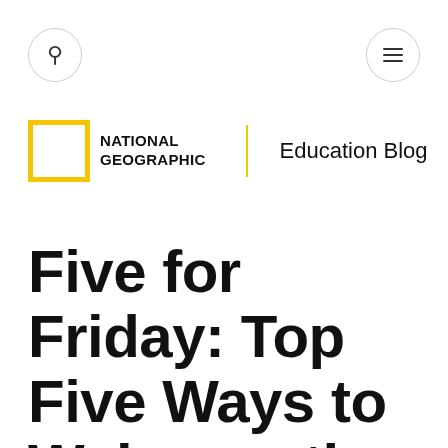National Geographic | Education Blog
Five for Friday: Top Five Ways to Welcome the Coming of Fall